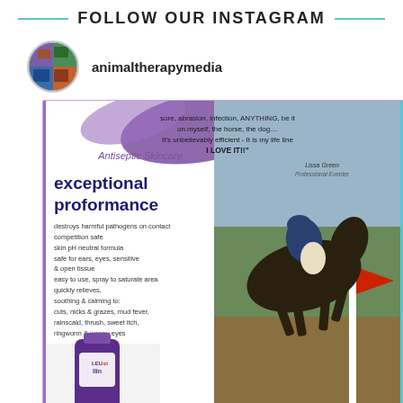FOLLOW OUR INSTAGRAM
animaltherapymedia
[Figure (screenshot): Instagram post from animaltherapymedia showing a Leucillin Antiseptic Skincare advertisement. Features a horse and rider jumping, with text: 'sore, abrasion, infection, ANYTHING, be it on myself, the horse, the dog.... It's unbelievably efficient - It is my life line I LOVE IT!!' attributed to Lissa Green, Professional Eventer. Left side lists product benefits: Antiseptic Skincare, exceptional proformance, destroys harmful pathogens on contact, competition safe, skin pH neutral formula, safe for ears, eyes, sensitive & open tissue, easy to use, spray to saturate area, quickly relieves, soothing & calming to: cuts, nicks & grazes, mud fever, rainscald, thrush, sweet itch, ringworm & weepy eyes. Bottom shows Leucillin product bottle.]